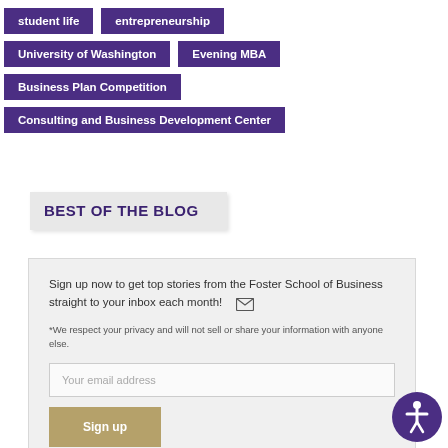student life
entrepreneurship
University of Washington
Evening MBA
Business Plan Competition
Consulting and Business Development Center
BEST OF THE BLOG
Sign up now to get top stories from the Foster School of Business straight to your inbox each month!
*We respect your privacy and will not sell or share your information with anyone else.
Your email address
Sign up